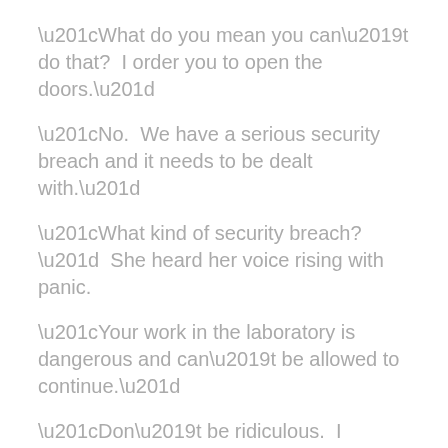“What do you mean you can’t do that?  I order you to open the doors.”
“No.  We have a serious security breach and it needs to be dealt with.”
“What kind of security breach?”  She heard her voice rising with panic.
“Your work in the laboratory is dangerous and can’t be allowed to continue.”
“Don’t be ridiculous.  I analyse plant DNA in order to improve the genome sequence and develop improved species.  How can that be dangerous?”
For a few moments there was just silence.
She realised that she was arguing with an